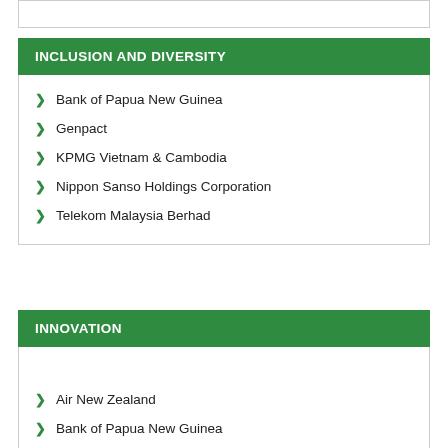INCLUSION AND DIVERSITY
Bank of Papua New Guinea
Genpact
KPMG Vietnam & Cambodia
Nippon Sanso Holdings Corporation
Telekom Malaysia Berhad
INNOVATION
Air New Zealand
Bank of Papua New Guinea